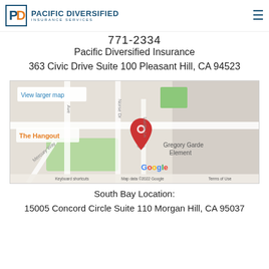Pacific Diversified Insurance Services logo and navigation
771-2334
Pacific Diversified Insurance
363 Civic Drive Suite 100 Pleasant Hill, CA 94523
[Figure (map): Google Map showing location of Pacific Diversified Insurance at 363 Civic Drive, Pleasant Hill, CA with a red location pin near Gregory Gardens Elementary. Shows The Hangout nearby. Includes 'View larger map' button, keyboard shortcuts, map data © 2022 Google, and Terms of Use.]
South Bay Location:
15005 Concord Circle Suite 110 Morgan Hill, CA 95037